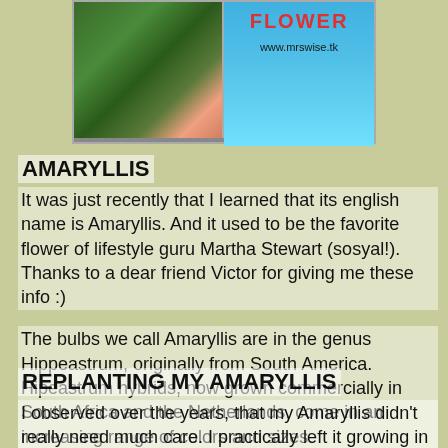[Figure (photo): Two-panel image: left panel shows an amaryllis flower plant with pink blooms and green leaves; right panel shows a light blue background with red bold text 'FLOWER' and website URL www.mrswise.tk]
AMARYLLIS
It was just recently that I learned that its english name is Amaryllis. And it used to be the favorite flower of lifestyle guru Martha Stewart (sosyal!).  Thanks to a dear friend Victor for giving me these info  :)
The bulbs we call Amaryllis are in the genus Hippeastrum, originally from South America. Hipeastrum hybrids, now grown commercially in South Africa and the Netherlands, come in an increasing range of colors and sizes.
REPLANTING MY AMARYLLIS
I observed over the years, that my Amaryllis didn't really need much care. I practically left it growing in one shady part